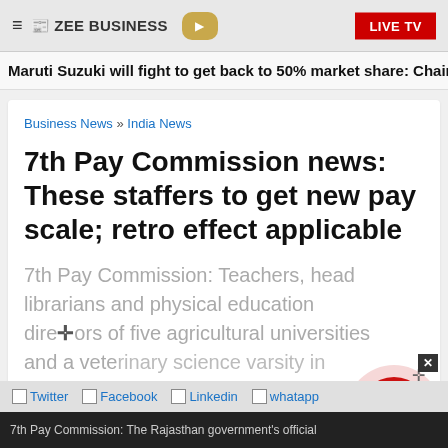ZEE BUSINESS | LIVE TV
Maruti Suzuki will fight to get back to 50% market share: Chairman
Business News » India News
7th Pay Commission news: These staffers to get new pay scale; retro effect applicable
7th Pay Commission: Teachers, head librarians and physical education directors of five agricultural universities and a veterinary science varsity in Rajasthan will now get pay scale in line with the 7 CPC guidelines.
Twitter  Facebook  Linkedin  whatapp
7th Pay Commission: The Rajasthan government's official